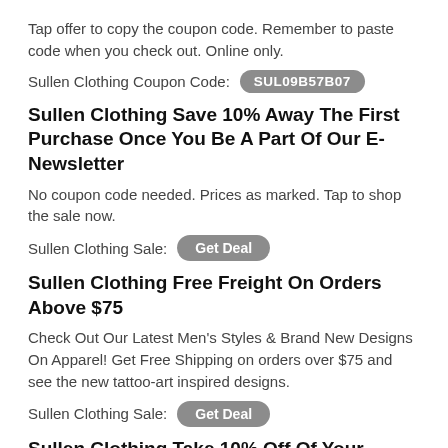Tap offer to copy the coupon code. Remember to paste code when you check out. Online only.
Sullen Clothing Coupon Code: SUL09B57B07
Sullen Clothing Save 10% Away The First Purchase Once You Be A Part Of Our E-Newsletter
No coupon code needed. Prices as marked. Tap to shop the sale now.
Sullen Clothing Sale: Get Deal
Sullen Clothing Free Freight On Orders Above $75
Check Out Our Latest Men's Styles & Brand New Designs On Apparel! Get Free Shipping on orders over $75 and see the new tattoo-art inspired designs.
Sullen Clothing Sale: Get Deal
Sullen Clothing Take 10% Off Of Your Primary Get
Tap offer to copy the coupon code. Remember to paste code when you check out. Online only.